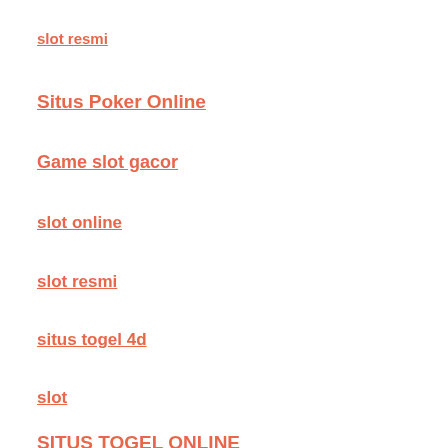slot resmi
Situs Poker Online
Game slot gacor
slot online
slot resmi
situs togel 4d
slot
SITUS TOGEL ONLINE